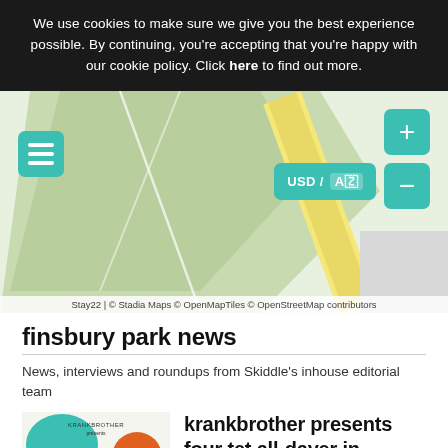We use cookies to make sure we give you the best experience possible. By continuing, you're accepting that you're happy with our cookie policy. Click here to find out more.
[Figure (map): Interactive map showing a park area with teal layer button, USD/AZ currency toggle, and zoom +/- buttons. Attribution: Stay22 | © Stadia Maps © OpenMapTiles © OpenStreetMap contributors]
Stay22 | © Stadia Maps © OpenMapTiles © OpenStreetMap contributors
finsbury park news
News, interviews and roundups from Skiddle's inhouse editorial team
[Figure (photo): Thumbnail image for krankbrother presents four tet all-dayer event. Shows 'FOUR TET ALL-DAYER' text on colorful abstract background.]
krankbrother presents four tet all-dayer in london this august